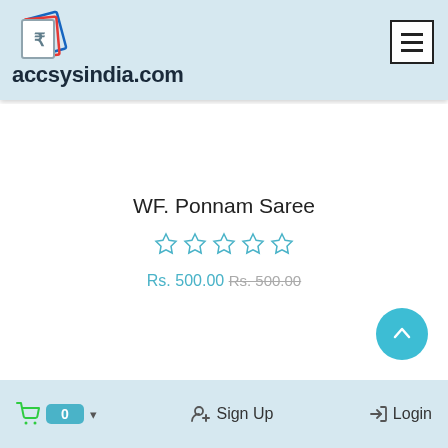accsysindia.com
WF. Ponnam Saree
Rs. 500.00 Rs. 500.00
0  Sign Up  Login